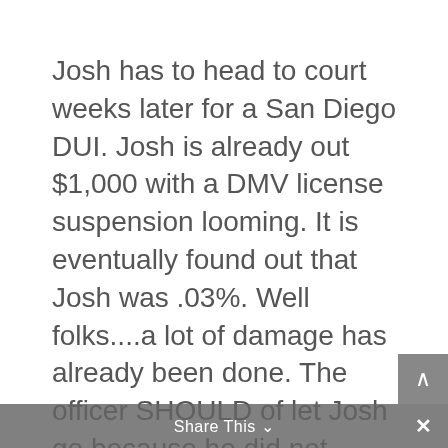Josh has to head to court weeks later for a San Diego DUI. Josh is already out $1,000 with a DMV license suspension looming. It is eventually found out that Josh was .03%. Well folks....a lot of damage has already been done. The officer SHOULD of let Josh go because he did not have enough probable cause to make an arrest. But...they want these arrest numbers. They also know a few of these people will be impaired so it will be ok.
What is the true bottom line in regards to San Diego Checkpoints..... Give up your
Share This ∨  ×